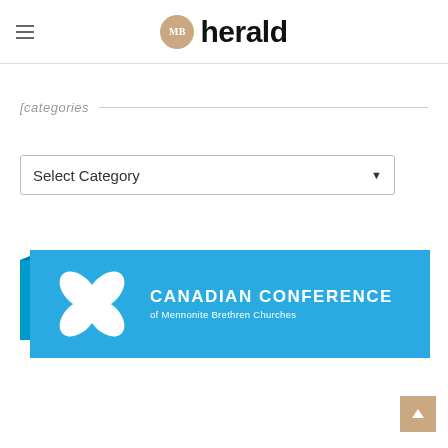MB herald
[categories
Select Category
[Figure (logo): Canadian Conference of Mennonite Brethren Churches logo on blue background with white flower/leaf emblem]